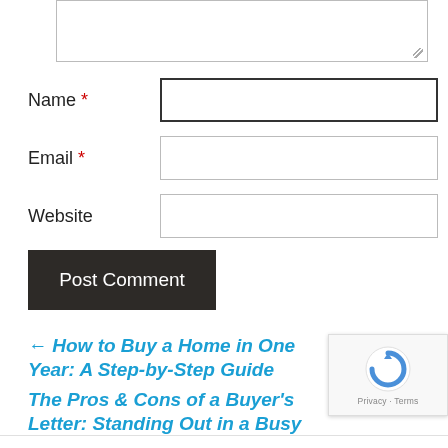[Figure (screenshot): Partial textarea input box at top of page]
Name *
Email *
Website
Post Comment
← How to Buy a Home in One Year: A Step-by-Step Guide
The Pros & Cons of a Buyer's Letter: Standing Out in a Busy Ma…
[Figure (logo): Google reCAPTCHA badge with spinning arrow logo and Privacy · Terms text]